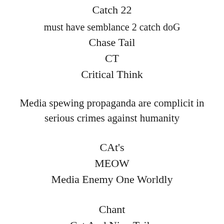Catch 22
must have semblance 2 catch doG
Chase Tail
CT
Critical Think
Media spewing propaganda are complicit in serious crimes against humanity
CAt's
MEOW
Media Enemy One Worldly
Chant
Cat And Nine Tails
CANT
aT